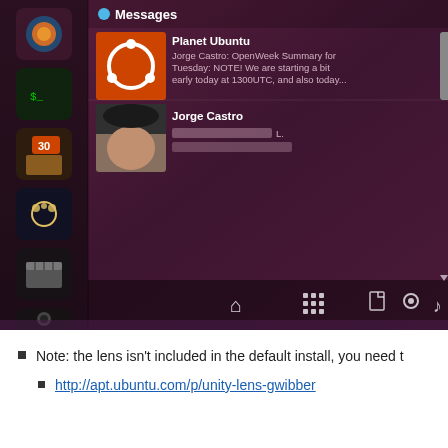[Figure (screenshot): Ubuntu Unity desktop screenshot showing Messages panel with Planet Ubuntu and Jorge Castro notifications, Unity launcher sidebar with app icons on left, and bottom lens bar with home/apps/files/settings/music icons.]
Note: the lens isn't included in the default install, you need t
http://apt.ubuntu.com/p/unity-lens-gwibber